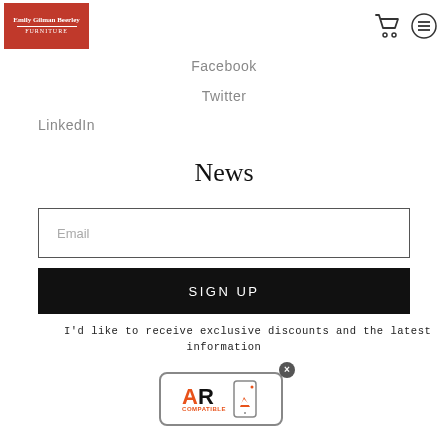Emily Gilman Beerley [logo] / cart icon / menu icon
Facebook
Twitter
LinkedIn
News
Email
SIGN UP
I'd like to receive exclusive discounts and the latest information
[Figure (logo): AR Compatible badge with close button]